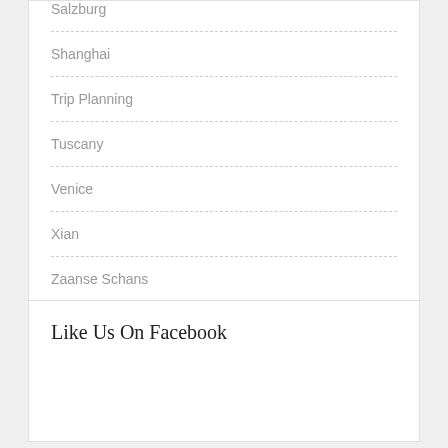Salzburg
Shanghai
Trip Planning
Tuscany
Venice
Xian
Zaanse Schans
Like Us On Facebook